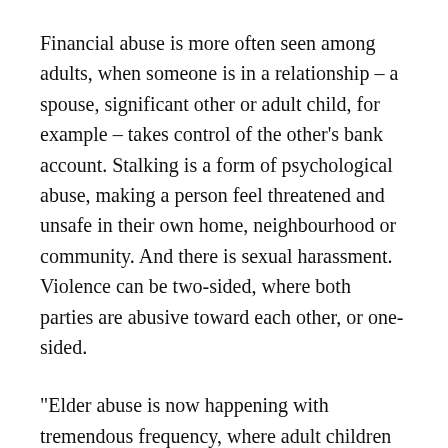Financial abuse is more often seen among adults, when someone is in a relationship – a spouse, significant other or adult child, for example – takes control of the other's bank account. Stalking is a form of psychological abuse, making a person feel threatened and unsafe in their own home, neighbourhood or community. And there is sexual harassment. Violence can be two-sided, where both parties are abusive toward each other, or one-sided.
“Elder abuse is now happening with tremendous frequency, where adult children are abusing their elderly parents,” said Stamp. “This is something that’s almost a pandemic, I think, in many – even North American – societies.”
For people who are in an abusive relationship, it is often difficult to leave an abuser. Violence against